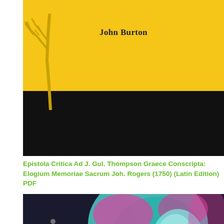[Figure (illustration): Book cover top section: yellow/gold background with stylized tree branch silhouette in darker gold/orange on the left side. Author name 'John Burton' centered in bold serif font.]
[Figure (illustration): Black horizontal band below the yellow section, forming part of the book cover design.]
Epistola Critica Ad J. Gul. Thompson Graece Conscripta: Elogium Memoriae Sacrum Joh. Rogers (1750) (Latin Edition) PDF
[Figure (photo): Photograph of abstract curved architectural or industrial forms with teal/cyan and pink/magenta colors, swirling circular shapes viewed from below or inside.]